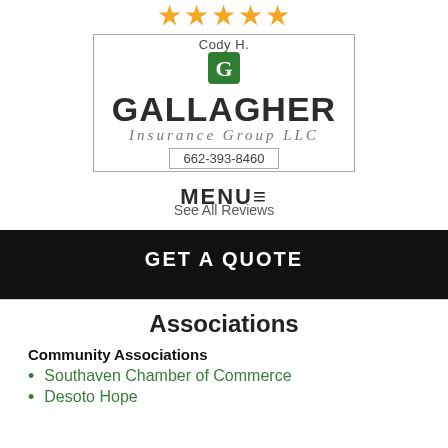[Figure (illustration): Five gold/yellow star rating icons in a row]
[Figure (logo): Cody H. Gallagher Insurance Group LLC logo with green G icon, bordered layout, phone number 662-393-8460]
MENU≡
See All Reviews
GET A QUOTE
Associations
Community Associations
Southaven Chamber of Commerce
Desoto Hope